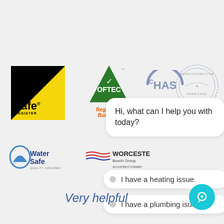[Figure (logo): Gas Safe Register logo - black background with yellow triangle and text]
[Figure (logo): OFTEC Registered Business logo - green triangle with OFTEC text and orange Registered Business text]
[Figure (logo): CHAS logo in blue]
[Figure (logo): SafeContractor Approved stamp logo]
[Figure (logo): Water Safe Quality Assured logo in blue]
[Figure (logo): Worcester Bosch Group Accredited Installer logo]
Hi, what can I help you with today?
I have a heating issue
I have a plumbing isue
I have an emergency
Very helpful